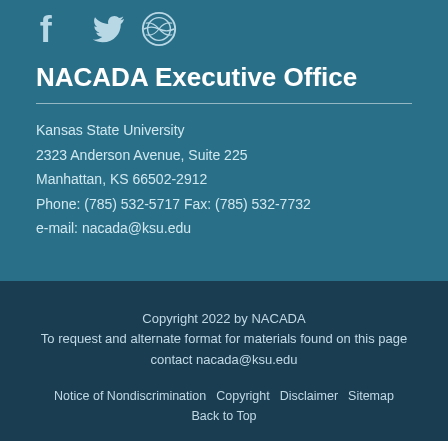[Figure (illustration): Three social media icons: Facebook, Twitter, WordPress, in light blue/white on teal background]
NACADA Executive Office
Kansas State University
2323 Anderson Avenue, Suite 225
Manhattan, KS 66502-2912
Phone: (785) 532-5717 Fax: (785) 532-7732
e-mail: nacada@ksu.edu
Copyright 2022 by NACADA
To request and alternate format for materials found on this page contact nacada@ksu.edu
Notice of Nondiscrimination   Copyright   Disclaimer   Sitemap
Back to Top